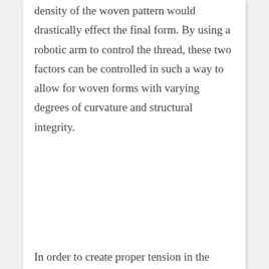density of the woven pattern would drastically effect the final form. By using a robotic arm to control the thread, these two factors can be controlled in such a way to allow for woven forms with varying degrees of curvature and structural integrity.
In order to create proper tension in the